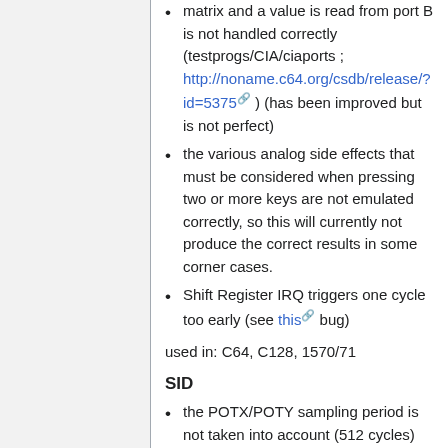matrix and a value is read from port B is not handled correctly (testprogs/CIA/ciaports ; http://noname.c64.org/csdb/release/?id=5375 ) (has been improved but is not perfect)
the various analog side effects that must be considered when pressing two or more keys are not emulated correctly, so this will currently not produce the correct results in some corner cases.
Shift Register IRQ triggers one cycle too early (see this bug)
used in: C64, C128, 1570/71
SID
the POTX/POTY sampling period is not taken into account (512 cycles)
POTX/POTY sampling jitter is not